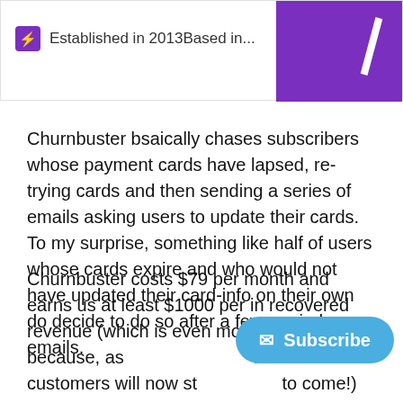Established in 2013Based in...
Churnbuster bsaically chases subscribers whose payment cards have lapsed, re-trying cards and then sending a series of emails asking users to update their cards. To my surprise, something like half of users whose cards expire and who would not have updated their card-info on their own do decide to do so after a few reminder emails.
Churnbuster costs $79 per month and earns us at least $1000 per in recovered revenue (which is even more valuable because, as lot of those customers will now st to come!)